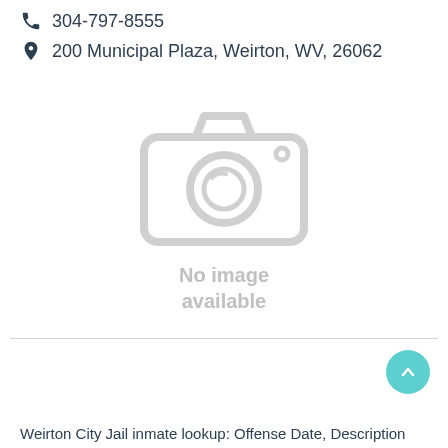304-797-8555
200 Municipal Plaza, Weirton, WV, 26062
[Figure (illustration): Placeholder camera icon with 'No image available' text]
Weirton City Jail inmate lookup: Offense Date, Description